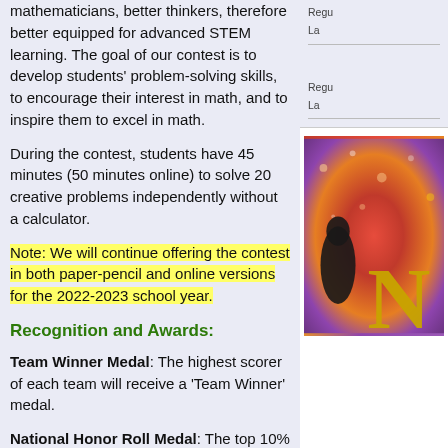mathematicians, better thinkers, therefore better equipped for advanced STEM learning. The goal of our contest is to develop students' problem-solving skills, to encourage their interest in math, and to inspire them to excel in math.
During the contest, students have 45 minutes (50 minutes online) to solve 20 creative problems independently without a calculator.
Note: We will continue offering the contest in both paper-pencil and online versions for the 2022-2023 school year.
Recognition and Awards:
Team Winner Medal: The highest scorer of each team will receive a 'Team Winner' medal.
National Honor Roll Medal: The top 10% of all participants in the nation will receive 'National Honor Roll' medals.
National Honorable Mention Ribbon: The
Regu
La
Regu
La
[Figure (photo): Photo with colorful background (red, orange, purple) showing a gold letter N and a dark silhouette of a person]